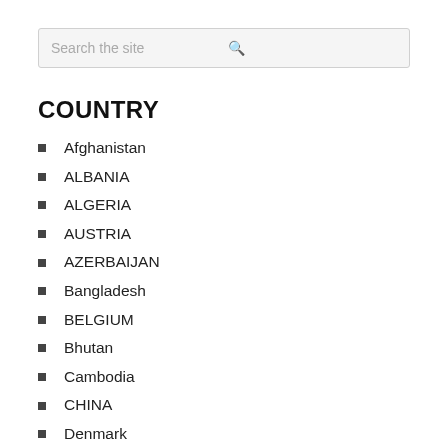Search the site
COUNTRY
Afghanistan
ALBANIA
ALGERIA
AUSTRIA
AZERBAIJAN
Bangladesh
BELGIUM
Bhutan
Cambodia
CHINA
Denmark
Czech Republic